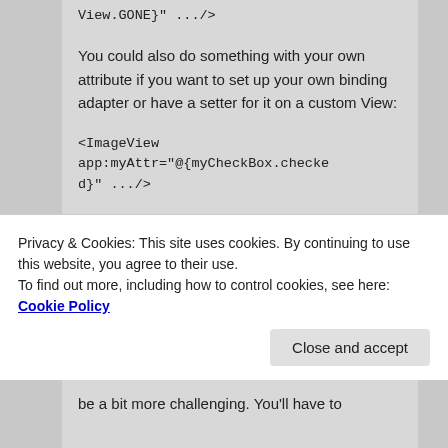View.GONE}" .../>
You could also do something with your own attribute if you want to set up your own binding adapter or have a setter for it on a custom View:
<ImageView app:myAttr="@{myCheckBox.checked}" .../>
You could also be notified directly with a listener:
Privacy & Cookies: This site uses cookies. By continuing to use this website, you agree to their use.
To find out more, including how to control cookies, see here: Cookie Policy
be a bit more challenging. You'll have to